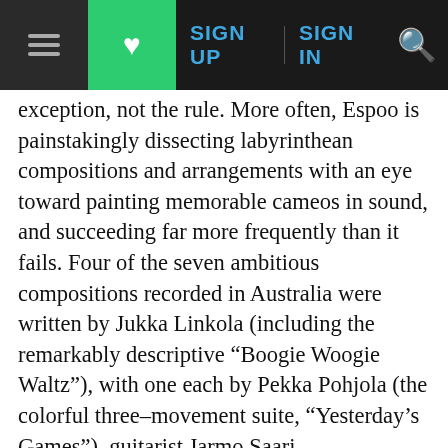≡ [menu] | [heart] | SIGN UP | SIGN IN | [search]
exception, not the rule. More often, Espoo is painstakingly dissecting labyrinthean compositions and arrangements with an eye toward painting memorable cameos in sound, and succeeding far more frequently than it fails. Four of the seven ambitious compositions recorded in Australia were written by Jukka Linkola (including the remarkably descriptive "Boogie Woogie Waltz"), with one each by Pekka Pohjola (the colorful three–movement suite, "Yesterday's Games"), guitarist Jarmo Saari ("Krapina/Hymn") and the American tenor saxophonist Rick Margitza ("Brace Yourself"). All of the soloists are first–rate, with special commendations for pianist Taipale, tenors Dunkel and Pietilä, altos Tenkanen and Pylkkänen, drummer Eskelinen, and trumpeters Priha and Lindgren. The second disc from Australia seems almost like an afterthought, clocking in